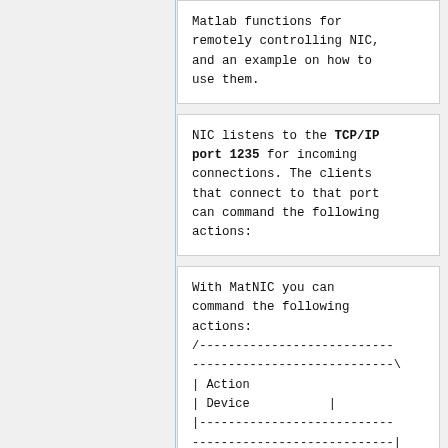Matlab functions for remotely controlling NIC, and an example on how to use them.
NIC listens to the TCP/IP port 1235 for incoming connections. The clients that connect to that port can command the following actions:
With MatNIC you can command the following actions:
/--------------------------------------------------\
| Action                    | Device            |
|--------------------------------------------------|
| Load Protocol             |
| Technical Stop/Start      |